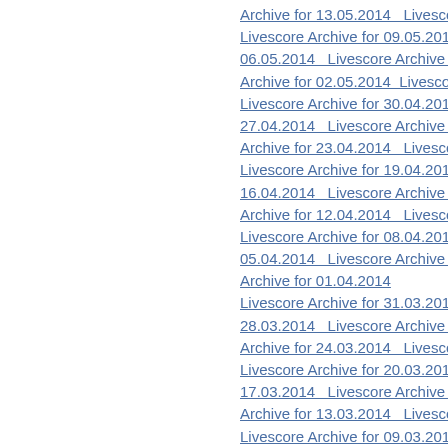Archive for 13.05.2014   Livescore Archive fo…
Livescore Archive for 09.05.2014   Livescore…
06.05.2014   Livescore Archive for 05.05.201…
Archive for 02.05.2014   Livescore Archive for…
Livescore Archive for 30.04.2014   Livescore…
27.04.2014   Livescore Archive for 26.04.201…
Archive for 23.04.2014   Livescore Archive fo…
Livescore Archive for 19.04.2014   Livescore…
16.04.2014   Livescore Archive for 15.04.201…
Archive for 12.04.2014   Livescore Archive fo…
Livescore Archive for 08.04.2014   Livescore…
05.04.2014   Livescore Archive for 04.04.201…
Archive for 01.04.2014
Livescore Archive for 31.03.2014   Livescore…
28.03.2014   Livescore Archive for 27.03.201…
Archive for 24.03.2014   Livescore Archive fo…
Livescore Archive for 20.03.2014   Livescore…
17.03.2014   Livescore Archive for 16.03.201…
Archive for 13.03.2014   Livescore Archive fo…
Livescore Archive for 09.03.2014   Livescore…
06.03.2014   Livescore Archive for 05.03.201…
Archive for 02.03.2014   Livescore Archive for…
Livescore Archive for 28.02.2014   Livescore…
25.02.2014   Livescore Archive for 24.02.201…
Archive for 21.02.2014   Livescore Archive fo…